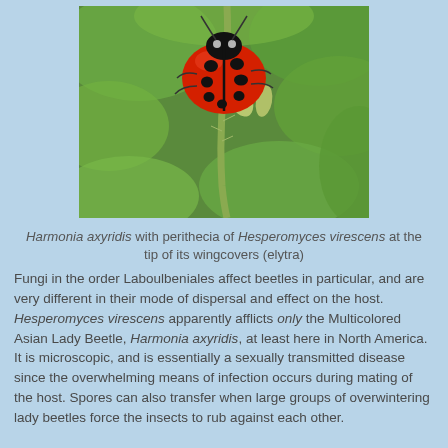[Figure (photo): Close-up photograph of a Harmonia axyridis (Multicolored Asian Lady Beetle), bright red with black spots, clinging to a green plant stem with seed pods, showing a hairy/fuzzy stem detail.]
Harmonia axyridis with perithecia of Hesperomyces virescens at the tip of its wingcovers (elytra)
Fungi in the order Laboulbeniales affect beetles in particular, and are very different in their mode of dispersal and effect on the host. Hesperomyces virescens apparently afflicts only the Multicolored Asian Lady Beetle, Harmonia axyridis, at least here in North America. It is microscopic, and is essentially a sexually transmitted disease since the overwhelming means of infection occurs during mating of the host. Spores can also transfer when large groups of overwintering lady beetles force the insects to rub against each other.